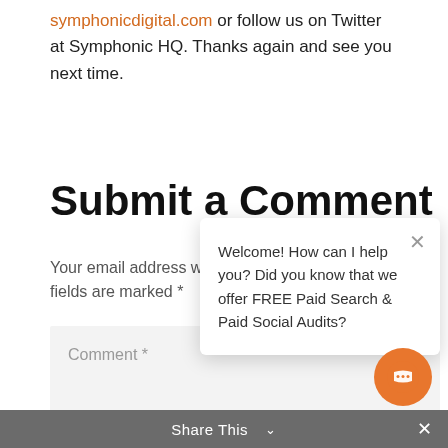symphonicdigital.com or follow us on Twitter at Symphonic HQ. Thanks again and see you next time.
Submit a Comment
Your email address w... fields are marked *
Comment *
[Figure (screenshot): Chat popup overlay with message: Welcome! How can I help you? Did you know that we offer FREE Paid Search & Paid Social Audits? with a close X button]
[Figure (illustration): Orange circular chat button in bottom right corner]
Share This  ∨